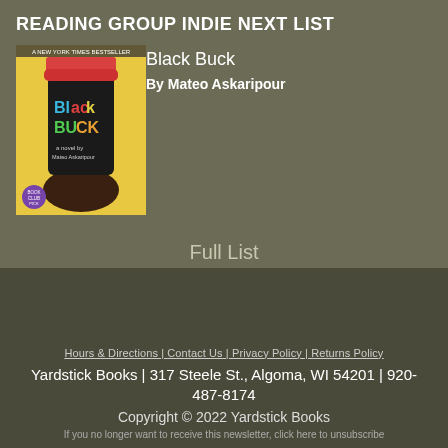READING GROUP INDIE NEXT LIST
[Figure (illustration): Book cover of 'Black Buck' by Mateo Askaripour — yellow background with a dark hand holding a black coffee cup, colorful text reading 'Black Buck a novel by Mateo Askaripour' on the cup. New York Times Bestseller badge at top. Book club badge at bottom left.]
Black Buck
By Mateo Askaripour
Full List
Hours & Directions | Contact Us | Privacy Policy | Returns Policy
Yardstick Books | 317 Steele St., Algoma, WI 54201 | 920-487-8174
Copyright © 2022 Yardstick Books